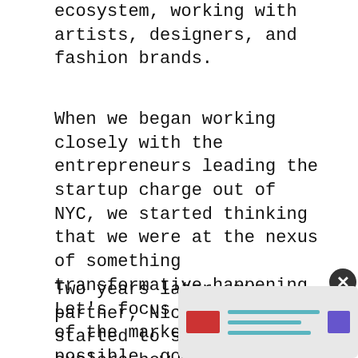ecosystem, working with artists, designers, and fashion brands.
When we began working closely with the entrepreneurs leading the startup charge out of NYC, we started thinking that we were at the nexus of something transformative happening. Let’s focus on this part of the market as much as possible, go all in, learn as much as we can, and figure out organically what could be next for us.
Two years later, my partner, Nick Ling, and I started to seriously explore how we could A) Keep our tight-knit team together, B) Go even deeper into the work we loved doing (building digital-first brands), and C) Focus on an opportunity that was something personal to us.